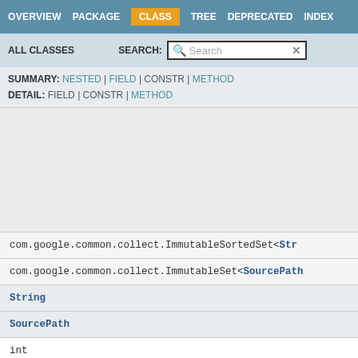OVERVIEW  PACKAGE  CLASS  TREE  DEPRECATED  INDEX
ALL CLASSES  SEARCH:  Search
SUMMARY: NESTED | FIELD | CONSTR | METHOD
DETAIL: FIELD | CONSTR | METHOD
com.google.common.collect.ImmutableSortedSet<Str
com.google.common.collect.ImmutableSet<SourcePath
String
SourcePath
int